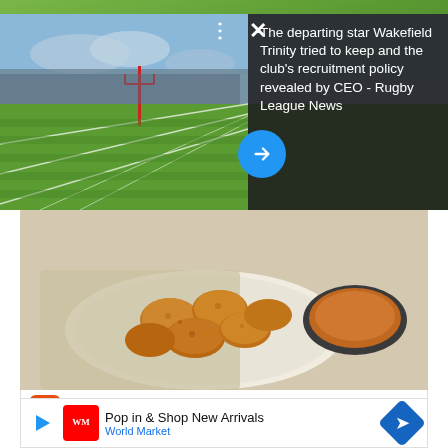[Figure (photo): Rugby league pitch photo with green grass, goal post, stadium stands in background, dark overlay on right with text about Wakefield Trinity Rugby League News]
The departing star Wakefield Trinity tried to keep and the club's recruitment policy revealed by CEO - Rugby League News
[Figure (photo): Food advertisement showing fried chicken nuggets with dipping sauce on a plate, with Pollo Campero ad - Entrega a Domicilio Gratis, Herndon 10AM-10PM]
Entrega a Domicilio Gratis
Pollo Campero
Herndon 10AM–10PM
When growing up with the great St Helens teams of the late 90's and 00's, it is hard to stomach and comprehend, but that has become a staple of Rugby League
Pop in & Shop New Arrivals
World Market